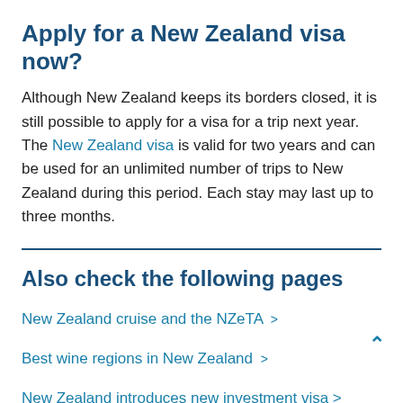Apply for a New Zealand visa now?
Although New Zealand keeps its borders closed, it is still possible to apply for a visa for a trip next year. The New Zealand visa is valid for two years and can be used for an unlimited number of trips to New Zealand during this period. Each stay may last up to three months.
Also check the following pages
New Zealand cruise and the NZeTA >
Best wine regions in New Zealand >
New Zealand introduces new investment visa >